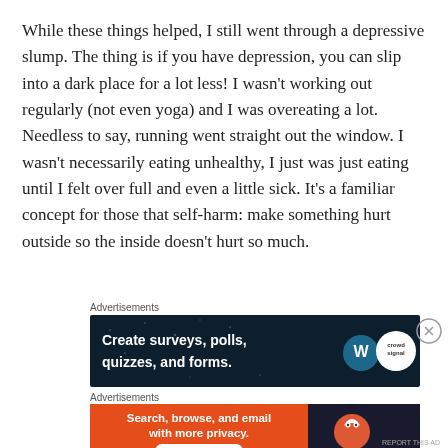While these things helped, I still went through a depressive slump. The thing is if you have depression, you can slip into a dark place for a lot less! I wasn't working out regularly (not even yoga) and I was overeating a lot. Needless to say, running went straight out the window. I wasn't necessarily eating unhealthy, I just was just eating until I felt over full and even a little sick. It's a familiar concept for those that self-harm: make something hurt outside so the inside doesn't hurt so much.
[Figure (screenshot): Advertisement banner for WordPress/Crowdsignal: dark navy background with text 'Create surveys, polls, quizzes, and forms.' with WordPress and Crowdsignal logos on the right.]
Advertisements
[Figure (screenshot): Advertisement banner for DuckDuckGo: orange left panel with text 'Search, browse, and email with more privacy. All in One Free App' and dark right panel with DuckDuckGo duck logo and brand name.]
Advertisements